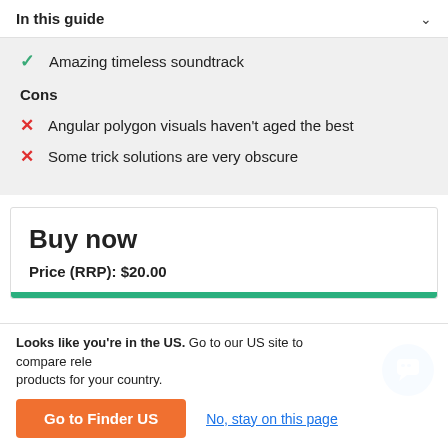In this guide
Amazing timeless soundtrack
Cons
Angular polygon visuals haven't aged the best
Some trick solutions are very obscure
Buy now
Price (RRP): $20.00
Looks like you're in the US. Go to our US site to compare rele products for your country.
Go to Finder US
No, stay on this page